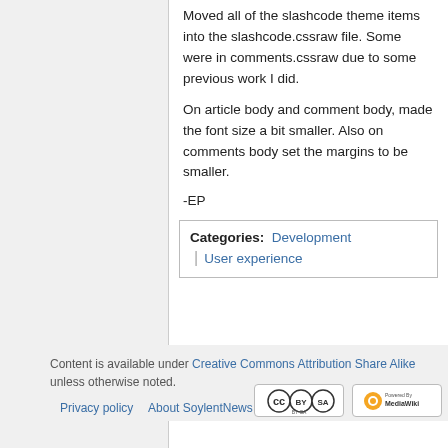Moved all of the slashcode theme items into the slashcode.cssraw file. Some were in comments.cssraw due to some previous work I did.
On article body and comment body, made the font size a bit smaller. Also on comments body set the margins to be smaller.
-EP
Categories:  Development | User experience
Content is available under Creative Commons Attribution Share Alike unless otherwise noted.
Privacy policy  About SoylentNews  Disclaimers